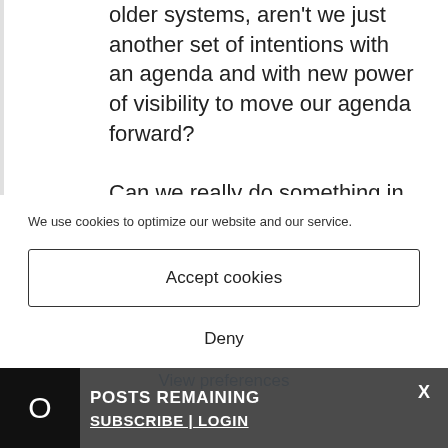older systems, aren't we just another set of intentions with an agenda and with new power of visibility to move our agenda forward?
Can we really do something in a
We use cookies to optimize our website and our service.
Accept cookies
Deny
View preferences
0 POSTS REMAINING X SUBSCRIBE | LOGIN